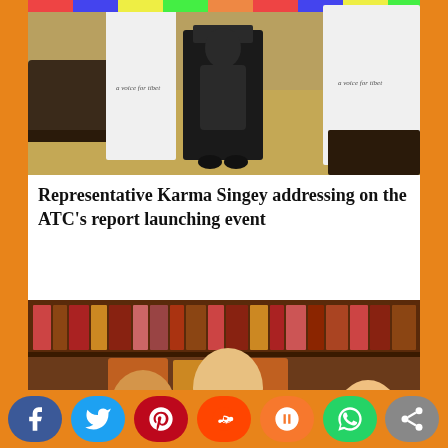[Figure (photo): A person standing at a podium with Tibetan prayer flags and 'a voice for tibet' banners visible in the background at an event venue.]
Representative Karma Singey addressing on the ATC’s report launching event
[Figure (photo): Three people standing together in front of a bookshelf, with a Tibet-related banner partially visible. The person in the center is wearing a white ceremonial scarf (khata).]
[Figure (other): Social media sharing buttons: Facebook, Twitter, Pinterest, Reddit, Mix, WhatsApp, and a generic share button.]